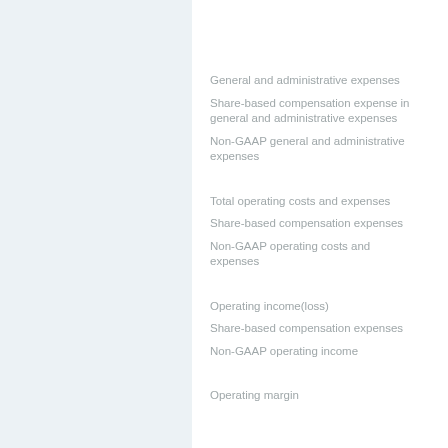General and administrative expenses
Share-based compensation expense in general and administrative expenses
Non-GAAP general and administrative expenses
Total operating costs and expenses
Share-based compensation expenses
Non-GAAP operating costs and expenses
Operating income(loss)
Share-based compensation expenses
Non-GAAP operating income
Operating margin